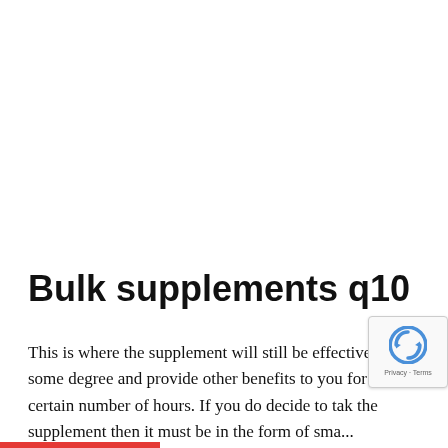Bulk supplements q10
This is where the supplement will still be effective to some degree and provide other benefits to you for a certain number of hours. If you do decide to take the supplement then it must be in the form of sma...